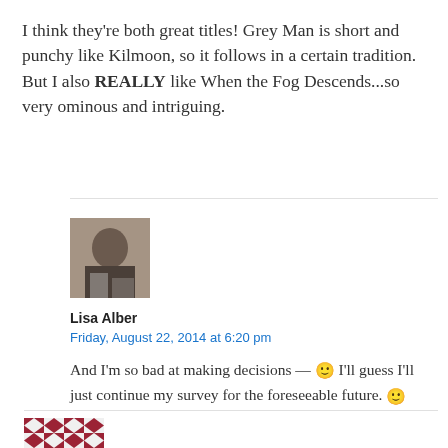I think they're both great titles! Grey Man is short and punchy like Kilmoon, so it follows in a certain tradition. But I also REALLY like When the Fog Descends...so very ominous and intriguing.
[Figure (photo): Avatar photo of a person at a table]
Lisa Alber
Friday, August 22, 2014 at 6:20 pm
And I'm so bad at making decisions — 🙂 I'll guess I'll just continue my survey for the foreseeable future. 🙂
[Figure (photo): Decorative avatar with red and white diamond pattern]